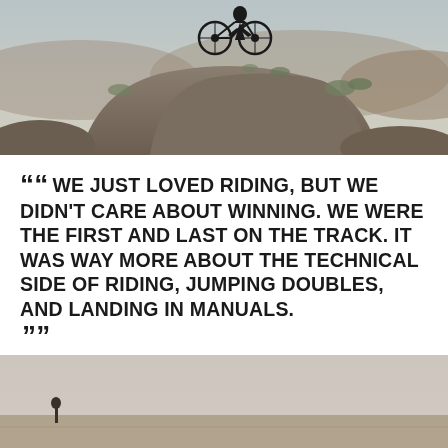[Figure (photo): Mountain biker with bicycle balanced on top of large rocks in a desert scrubland landscape, viewed from below]
““ WE JUST LOVED RIDING, BUT WE DIDN’T CARE ABOUT WINNING. WE WERE THE FIRST AND LAST ON THE TRACK. IT WAS WAY MORE ABOUT THE TECHNICAL SIDE OF RIDING, JUMPING DOUBLES, AND LANDING IN MANUALS. ””
–BRAYDON BRINGHURST
[Figure (photo): Silhouette of a mountain biker in a hazy, misty outdoor landscape at dusk or dawn]